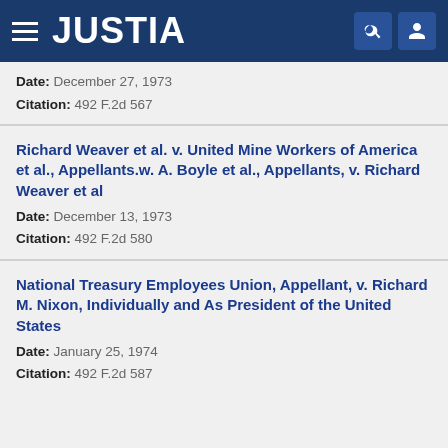JUSTIA
Date: December 27, 1973
Citation: 492 F.2d 567
Richard Weaver et al. v. United Mine Workers of America et al., Appellants.w. A. Boyle et al., Appellants, v. Richard Weaver et al
Date: December 13, 1973
Citation: 492 F.2d 580
National Treasury Employees Union, Appellant, v. Richard M. Nixon, Individually and As President of the United States
Date: January 25, 1974
Citation: 492 F.2d 587